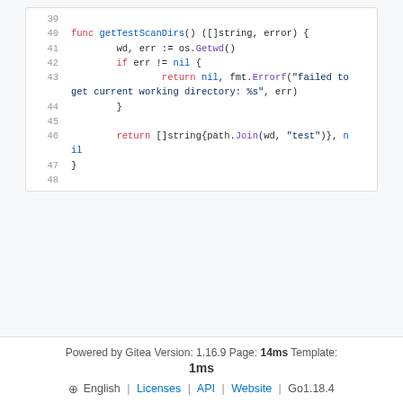[Figure (screenshot): Code block showing Go source code lines 39-48, featuring function getTestScanDirs() with syntax highlighting]
Powered by Gitea Version: 1.16.9 Page: 14ms Template: 1ms
⊕ English | Licenses | API | Website | Go1.18.4